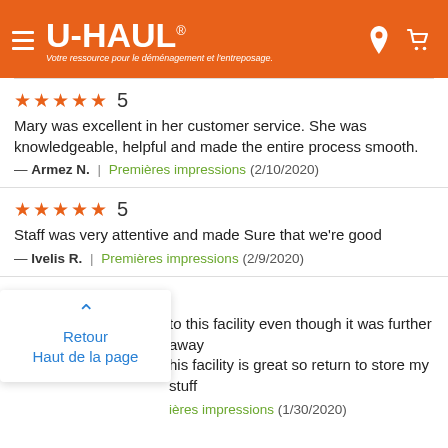U-HAUL — Votre ressource pour le déménagement et l'entreposage.
★★★★★ 5
Mary was excellent in her customer service. She was knowledgeable, helpful and made the entire process smooth.
— Armez N. | Premières impressions (2/10/2020)
★★★★★ 5
Staff was very attentive and made Sure that we're good
— Ivelis R. | Premières impressions (2/9/2020)
★★★★★ 5
…to this facility even though it was further away …his facility is great so return to store my stuff
— … | Premières impressions (1/30/2020)
Retour
Haut de la page